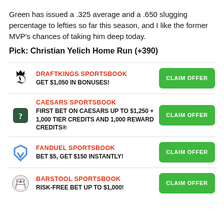Green has issued a .325 average and a .650 slugging percentage to lefties so far this season, and I like the former MVP's chances of taking him deep today.
Pick: Christian Yelich Home Run (+390)
DRAFTKINGS SPORTSBOOK
GET $1,050 IN BONUSES!
CLAIM OFFER
CAESARS SPORTSBOOK
FIRST BET ON CAESARS UP TO $1,250 + 1,000 TIER CREDITS AND 1,000 REWARD CREDITS®
CLAIM OFFER
FANDUEL SPORTSBOOK
BET $5, GET $150 INSTANTLY!
CLAIM OFFER
BARSTOOL SPORTSBOOK
RISK-FREE BET UP TO $1,000!
CLAIM OFFER